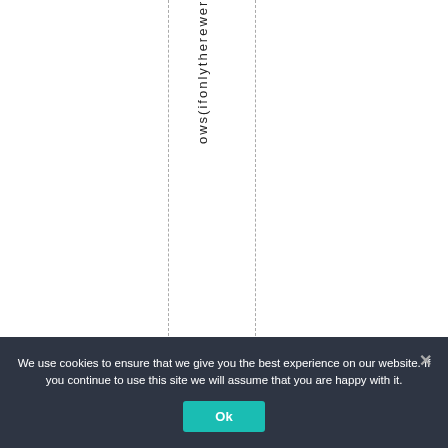ows(ifonlytherew er
We use cookies to ensure that we give you the best experience on our website. If you continue to use this site we will assume that you are happy with it.